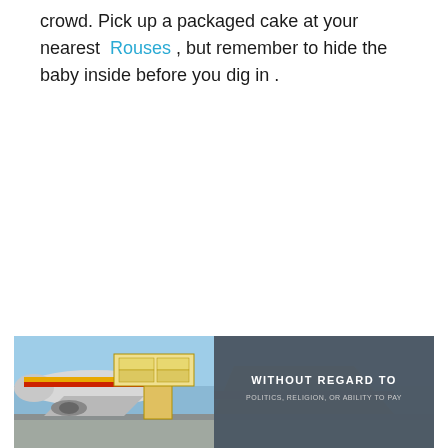crowd. Pick up a packaged cake at your nearest Rouses , but remember to hide the baby inside before you dig in .
[Figure (photo): Advertisement banner showing cargo airplane being loaded with freight on a tarmac, with a gray overlay box on the right containing text 'WITHOUT REGARD TO' and smaller subtitle text.]